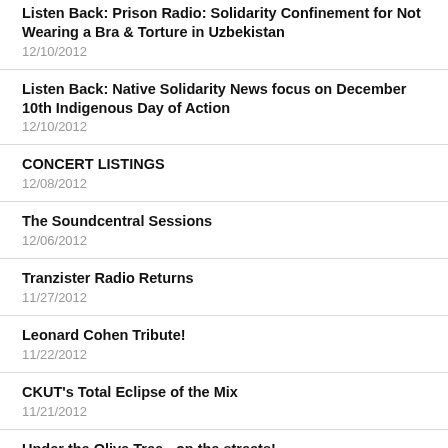Listen Back: Prison Radio: Solidarity Confinement for Not Wearing a Bra & Torture in Uzbekistan
12/10/2012
Listen Back: Native Solidarity News focus on December 10th Indigenous Day of Action
12/10/2012
CONCERT LISTINGS
12/08/2012
The Soundcentral Sessions
12/06/2012
Tranzister Radio Returns
11/27/2012
Leonard Cohen Tribute!
11/22/2012
CKUT's Total Eclipse of the Mix
11/21/2012
Under the Olive Tree - on the streets!
11/21/2012